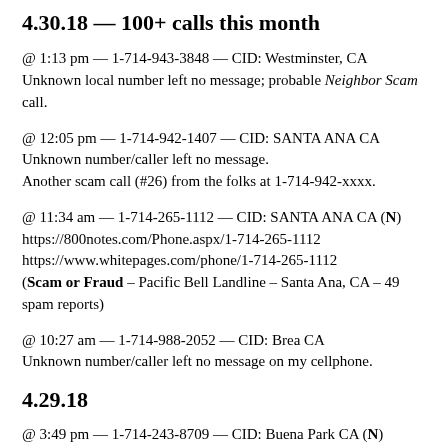4.30.18 — 100+ calls this month
@ 1:13 pm — 1-714-943-3848 — CID: Westminster, CA
Unknown local number left no message; probable Neighbor Scam call.
@ 12:05 pm — 1-714-942-1407 — CID: SANTA ANA CA
Unknown number/caller left no message.
Another scam call (#26) from the folks at 1-714-942-xxxx.
@ 11:34 am — 1-714-265-1112 — CID: SANTA ANA CA (N)
https://800notes.com/Phone.aspx/1-714-265-1112
https://www.whitepages.com/phone/1-714-265-1112
(Scam or Fraud – Pacific Bell Landline – Santa Ana, CA – 49 spam reports)
@ 10:27 am — 1-714-988-2052 — CID: Brea CA
Unknown number/caller left no message on my cellphone.
4.29.18
@ 3:49 pm — 1-714-243-8709 — CID: Buena Park CA (N)